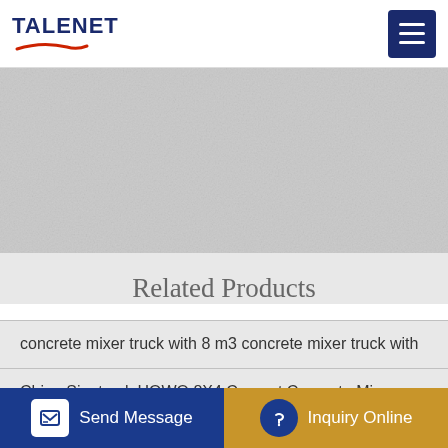TALENET
[Figure (photo): Banner image with concrete/stone texture background, light gray]
Related Products
concrete mixer truck with 8 m3 concrete mixer truck with
China Sinotruck HOWO 8X4 Cement Concrete Mixer Truck
factory supply trailer concrete pump with mixer in hot sale
how to pour a concrete with a cement mixer